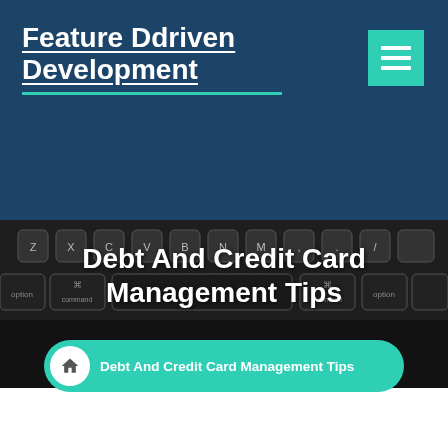Feature Ddriven Development
[Figure (screenshot): Hamburger/menu icon in teal/cyan square, top right of header]
Debt And Credit Card Management Tips
[Figure (photo): Dark keyboard photo background with hands]
Debt And Credit Card Management Tips